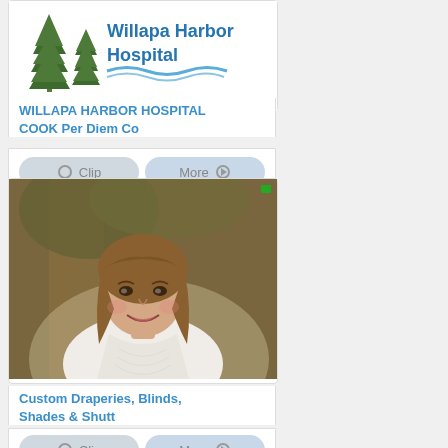[Figure (logo): Willapa Harbor Hospital logo with pine trees and wave graphic]
WILLAPA HARBOR HOSPITAL
COOK Per Diem Co
Clip | More
[Figure (photo): Professional headshot of a woman with shoulder-length brown hair wearing a white blouse, photographed outdoors near a tree]
Custom Draperies, Blinds, Shades & Shutt
Clip | More